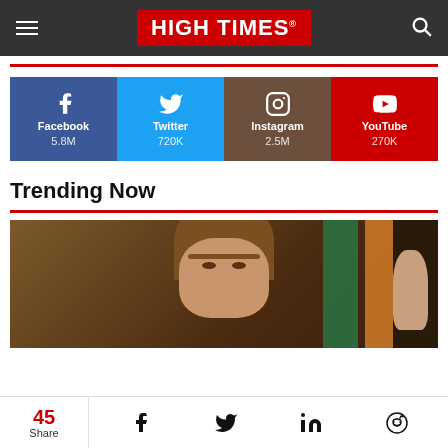HIGH TIMES
[Figure (infographic): Social media followers bar: Facebook 5.8M, Twitter 720K, Instagram 2.5M, YouTube 270K]
Trending Now
[Figure (photo): Photo of a man with brown hair, with green and orange elements in background]
45 Share | Facebook | Twitter | LinkedIn | Reddit